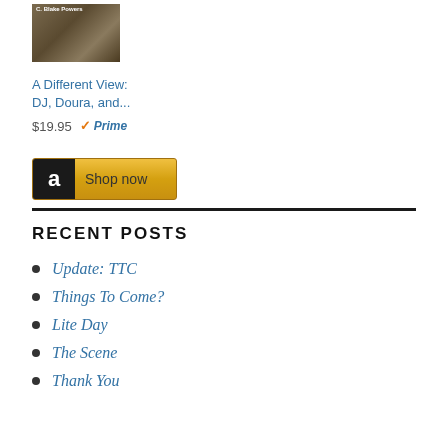[Figure (photo): Book cover for 'A Different View: DJ, Doura, and...' by C. Blake Powers, showing a dark brown/earth toned cover]
A Different View: DJ, Doura, and...
$19.95 ✓Prime
[Figure (other): Amazon 'Shop now' button with black Amazon icon on left and gold/yellow background]
RECENT POSTS
Update: TTC
Things To Come?
Lite Day
The Scene
Thank You